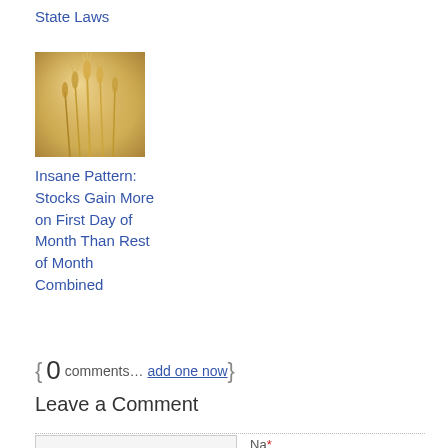State Laws
[Figure (photo): Close-up photo of golden wheat or grain stalks with blurred warm background]
Insane Pattern: Stocks Gain More on First Day of Month Than Rest of Month Combined
{ 0 comments… add one now }
Leave a Comment